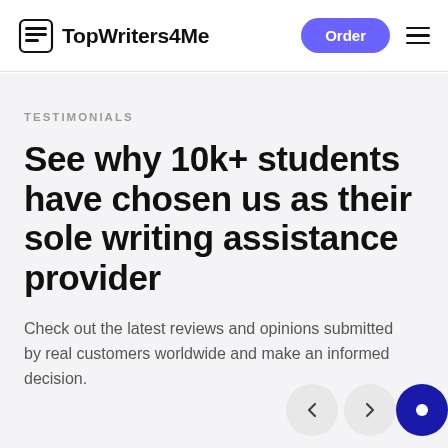TopWriters4Me | Order
TESTIMONIALS
See why 10k+ students have chosen us as their sole writing assistance provider
Check out the latest reviews and opinions submitted by real customers worldwide and make an informed decision.